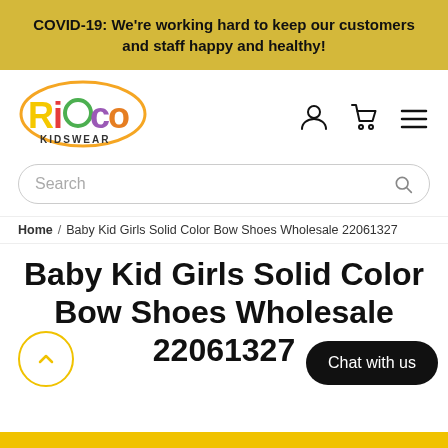COVID-19: We're working hard to keep our customers and staff happy and healthy!
[Figure (logo): Rioco Kidswear logo — colorful text with the word RIOCO in yellow/multicolor and KIDSWEAR below in smaller text]
Search
Home / Baby Kid Girls Solid Color Bow Shoes Wholesale 22061327
Baby Kid Girls Solid Color Bow Shoes Wholesale 22061327
Chat with us